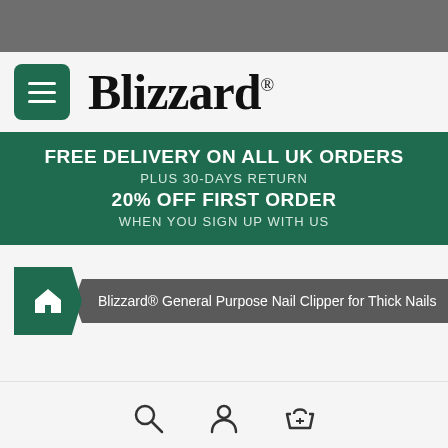[Figure (screenshot): Gray top browser bar]
[Figure (logo): Blizzard brand logo with hamburger menu icon on green background]
FREE DELIVERY ON ALL UK ORDERS
PLUS 30-DAYS RETURN
20% OFF FIRST ORDER
WHEN YOU SIGN UP WITH US
Blizzard® General Purpose Nail Clipper for Thick Nails
[Figure (infographic): Bottom navigation bar with search, account, and basket icons]